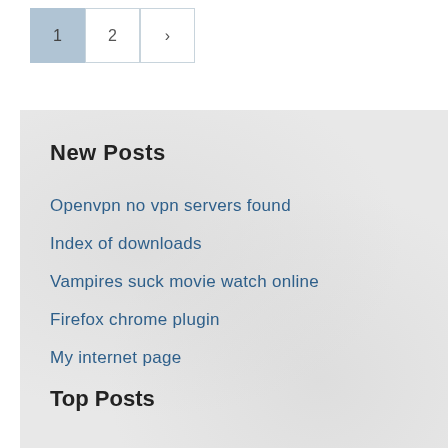1
2
>
New Posts
Openvpn no vpn servers found
Index of downloads
Vampires suck movie watch online
Firefox chrome plugin
My internet page
Top Posts